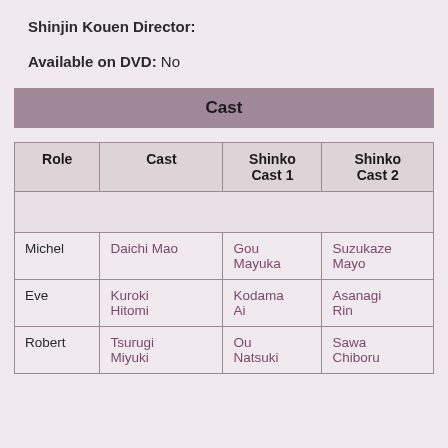Shinjin Kouen Director:
Available on DVD: No
| Role | Cast | Shinko Cast 1 | Shinko Cast 2 |
| --- | --- | --- | --- |
| Michel | Daichi Mao | Gou Mayuka | Suzukaze Mayo |
| Eve | Kuroki Hitomi | Kodama Ai | Asanagi Rin |
| Robert | Tsurugi Miyuki | Ou Natsuki | Sawa Chiboru |